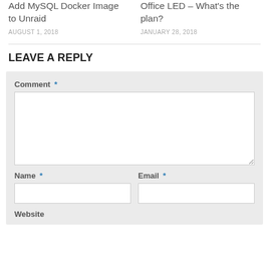Add MySQL Docker Image to Unraid
AUGUST 1, 2018
Office LED – What's the plan?
JANUARY 28, 2018
LEAVE A REPLY
Comment *
Name *
Email *
Website